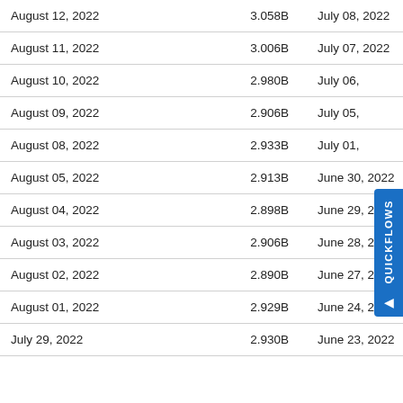| Date | Value | Date |
| --- | --- | --- |
| August 12, 2022 | 3.058B | July 08, 2022 |
| August 11, 2022 | 3.006B | July 07, 2022 |
| August 10, 2022 | 2.980B | July 06, 2… |
| August 09, 2022 | 2.906B | July 05, … |
| August 08, 2022 | 2.933B | July 01, … |
| August 05, 2022 | 2.913B | June 30, 2022 |
| August 04, 2022 | 2.898B | June 29, 2022 |
| August 03, 2022 | 2.906B | June 28, 2022 |
| August 02, 2022 | 2.890B | June 27, 2022 |
| August 01, 2022 | 2.929B | June 24, 2022 |
| July 29, 2022 | 2.930B | June 23, 2022 |